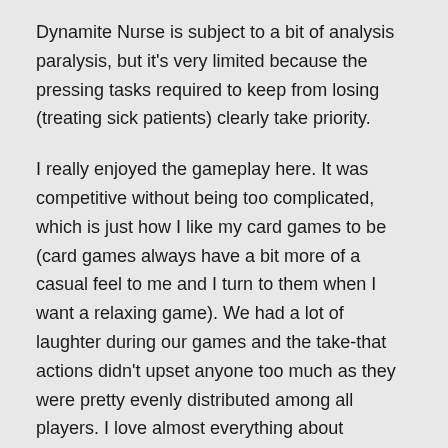Dynamite Nurse is subject to a bit of analysis paralysis, but it's very limited because the pressing tasks required to keep from losing (treating sick patients) clearly take priority.
I really enjoyed the gameplay here. It was competitive without being too complicated, which is just how I like my card games to be (card games always have a bit more of a casual feel to me and I turn to them when I want a relaxing game). We had a lot of laughter during our games and the take-that actions didn't upset anyone too much as they were pretty evenly distributed among all players. I love almost everything about Dynamite Nurse. That being said, I'm disappointed Japanime doesn't publish a family-friendly version of the game so that I can play with a wider audience. I'm not naïve; I understand that racy artwork adds to the appeal for a certain demographic but the sexualization of the characters in Dynamite Nurse isn't subtle – it's right in your face on every card and a major turn off for players who are more